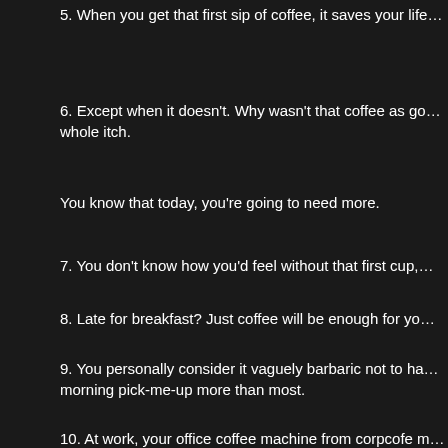5. When you get that first sip of coffee, it saves your life…
6. Except when it doesn't. Why wasn't that coffee as go… whole itch.
You know that today, you're going to need more.
7. You don't know how you'd feel without that first cup,…
8. Late for breakfast? Just coffee will be enough for yo…
9. You personally consider it vaguely barbaric not to ha… morning pick-me-up more than most.
10. At work, your office coffee machine from corpcofe m…
11. Sometimes, you want coffee before food. You kno…